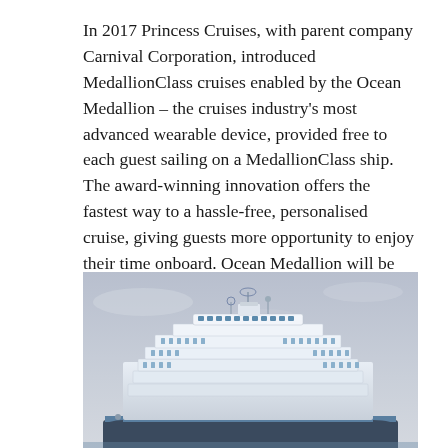In 2017 Princess Cruises, with parent company Carnival Corporation, introduced MedallionClass cruises enabled by the Ocean Medallion – the cruises industry's most advanced wearable device, provided free to each guest sailing on a MedallionClass ship. The award-winning innovation offers the fastest way to a hassle-free, personalised cruise, giving guests more opportunity to enjoy their time onboard. Ocean Medallion will be activated on five ships by the end of 2019. An activation plan will continue across the global fleet in 2020 and beyond.
[Figure (photo): A large cruise ship (Princess Cruises vessel) photographed from a low angle against a pale blue-grey sky. The upper decks and superstructure are visible, showing multiple white decks, radar equipment, and the ship's bridge area.]